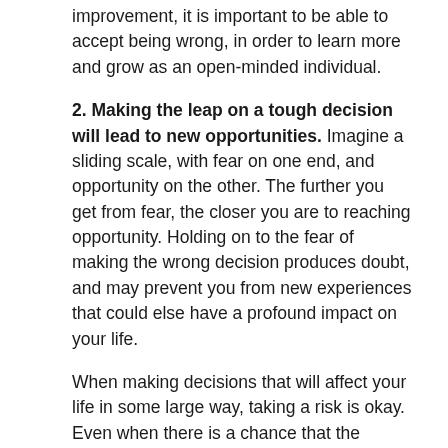improvement, it is important to be able to accept being wrong, in order to learn more and grow as an open-minded individual.
2. Making the leap on a tough decision will lead to new opportunities. Imagine a sliding scale, with fear on one end, and opportunity on the other. The further you get from fear, the closer you are to reaching opportunity. Holding on to the fear of making the wrong decision produces doubt, and may prevent you from new experiences that could else have a profound impact on your life.
When making decisions that will affect your life in some large way, taking a risk is okay. Even when there is a chance that the decision you make might actually be wrong, you will experience circumstances that you might not have otherwise. Without making the leap, you are stripped of the lessons learned in this process.